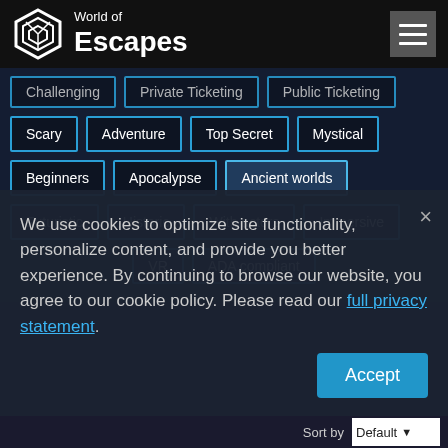[Figure (logo): World of Escapes logo with hexagonal icon and text]
Challenging
Private Ticketing
Public Ticketing
Scary
Adventure
Top Secret
Mystical
Beginners
Apocalypse
Ancient worlds
Futuristic
Historic
With actors
Immersive
VR
ADA compliant
We use cookies to optimize site functionality, personalize content, and provide you better experience. By continuing to browse our website, you agree to our cookie policy. Please read our full privacy statement.
Sort by Default